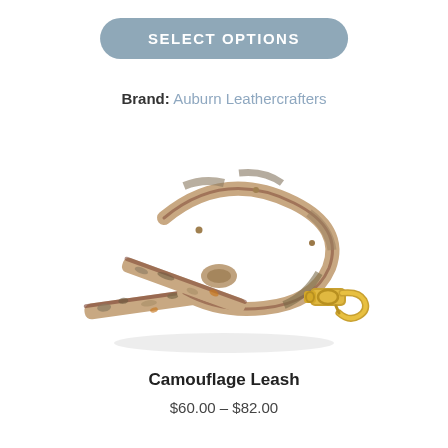SELECT OPTIONS
Brand: Auburn Leathercrafters
[Figure (photo): A camouflage dog leash with a camo pattern fabric over brown leather backing, coiled and crossed, with a gold-colored metal clip hook at one end.]
Camouflage Leash
$60.00 – $82.00